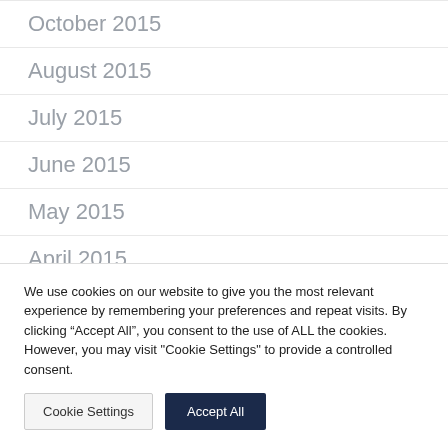October 2015
August 2015
July 2015
June 2015
May 2015
April 2015
We use cookies on our website to give you the most relevant experience by remembering your preferences and repeat visits. By clicking “Accept All”, you consent to the use of ALL the cookies. However, you may visit "Cookie Settings" to provide a controlled consent.
Cookie Settings | Accept All